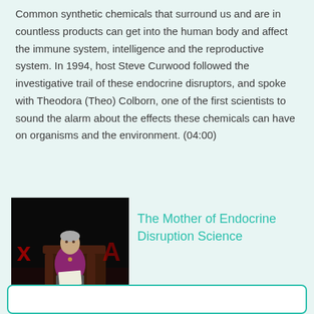Common synthetic chemicals that surround us and are in countless products can get into the human body and affect the immune system, intelligence and the reproductive system. In 1994, host Steve Curwood followed the investigative trail of these endocrine disruptors, and spoke with Theodora (Theo) Colborn, one of the first scientists to sound the alarm about the effects these chemicals can have on organisms and the environment. (04:00)
[Figure (photo): An elderly woman in a purple top sitting in a leather chair on a stage, appearing to be at a TED-style talk with red X logos visible in the background.]
The Mother of Endocrine Disruption Science